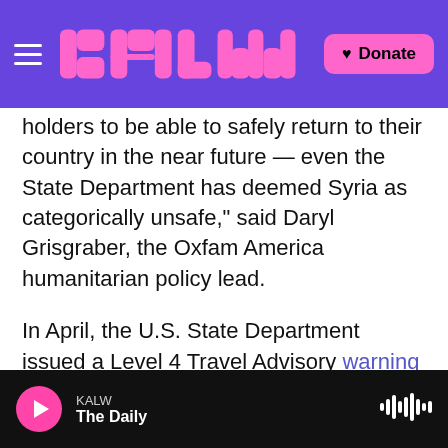KALW — [logo] — Donate
holders to be able to safely return to their country in the near future — even the State Department has deemed Syria as categorically unsafe," said Daryl Grisgraber, the Oxfam America humanitarian policy lead.
In April, the U.S. State Department issued a Level 4 Travel Advisory warning Americans: "Do not travel to Syria due to terrorism, civil unrest, kidnapping, and armed conflict. No part of Syria is safe from violence."
McAleenan's statement underscored the temporary
KALW — The Daily